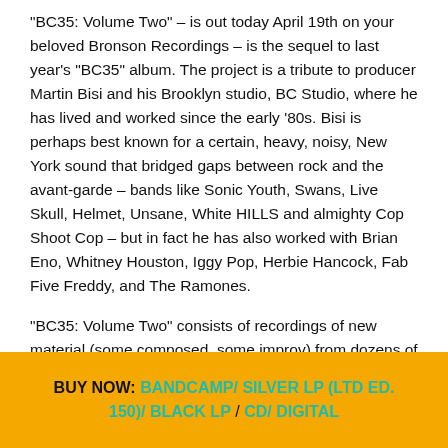"BC35: Volume Two" – is out today April 19th on your beloved Bronson Recordings – is the sequel to last year's "BC35" album. The project is a tribute to producer Martin Bisi and his Brooklyn studio, BC Studio, where he has lived and worked since the early '80s. Bisi is perhaps best known for a certain, heavy, noisy, New York sound that bridged gaps between rock and the avant-garde – bands like Sonic Youth, Swans, Live Skull, Helmet, Unsane, White HILLS and almighty Cop Shoot Cop – but in fact he has also worked with Brian Eno, Whitney Houston, Iggy Pop, Herbie Hancock, Fab Five Freddy, and The Ramones.
"BC35: Volume Two" consists of recordings of new material (some composed, some improv) from dozens of BC Studio alumni who gathered at the studio to jam out in honor of Bisi.
BUY NOW: BANDCAMP/ SILVER LP (LTD ED. 150)/ BLACK LP / CD/ DIGITAL